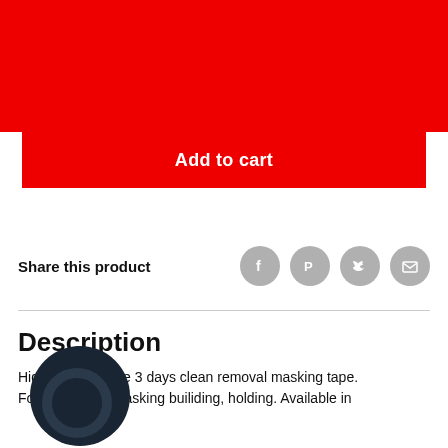W (logo) — navigation header with hamburger menu, search, account, and cart icons
Add to cart
Share this product
Description
High Performance 3 days clean removal masking tape. Formulated for masking builiding, holding. Available in